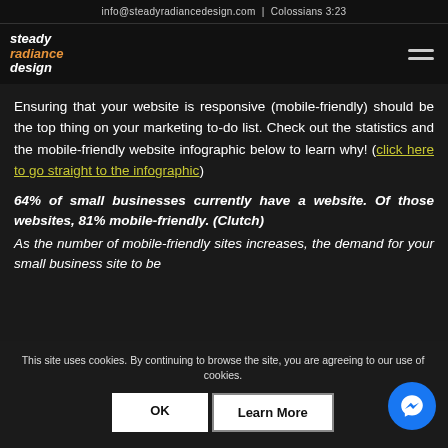info@steadyradiancedesign.com | Colossians 3:23
[Figure (logo): Steady Radiance Design logo with italic text in white and orange]
Ensuring that your website is responsive (mobile-friendly) should be the top thing on your marketing to-do list. Check out the statistics and the mobile-friendly website infographic below to learn why! (click here to go straight to the infographic)
64% of small businesses currently have a website. Of those websites, 81% mobile-friendly. (Clutch)
As the number of mobile-friendly sites increases, the demand for your small business site to be
This site uses cookies. By continuing to browse the site, you are agreeing to our use of cookies.